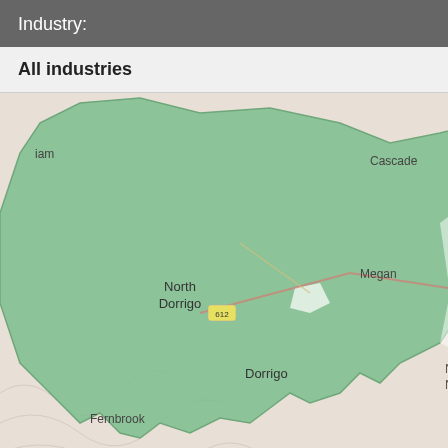Industry:
All industries
[Figure (map): Interactive map showing a highlighted green geographic region around Dorrigo, North Dorrigo, Fernbrook, Darkwood, Thora, Cascade, Megan areas in New South Wales, Australia. The map uses OpenStreetMap tiles with a green polygon overlay indicating the selected area.]
Source: Australian Business Register. The data presented in this map and table a... identification of particular businesses.
Australian business n